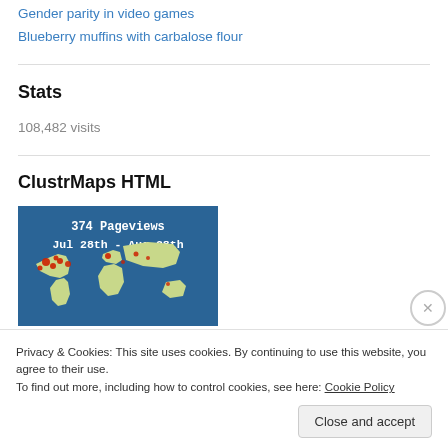Gender parity in video games
Blueberry muffins with carbalose flour
Stats
108,482 visits
ClustrMaps HTML
[Figure (map): ClustrMaps widget showing 374 Pageviews Jul 28th – Aug 28th, world map with red dot clusters marking visitor locations]
Privacy & Cookies: This site uses cookies. By continuing to use this website, you agree to their use.
To find out more, including how to control cookies, see here: Cookie Policy
Close and accept